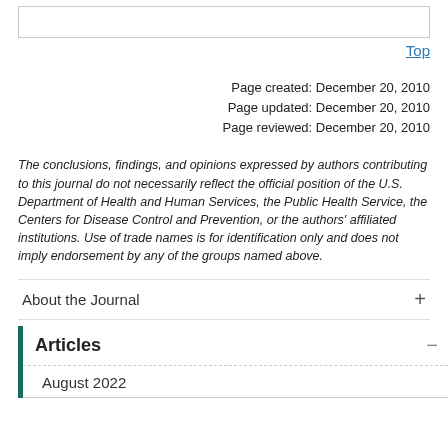Top
Page created: December 20, 2010
Page updated: December 20, 2010
Page reviewed: December 20, 2010
The conclusions, findings, and opinions expressed by authors contributing to this journal do not necessarily reflect the official position of the U.S. Department of Health and Human Services, the Public Health Service, the Centers for Disease Control and Prevention, or the authors' affiliated institutions. Use of trade names is for identification only and does not imply endorsement by any of the groups named above.
About the Journal
Articles
August 2022